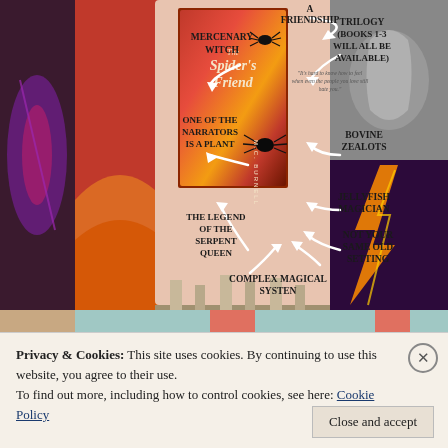[Figure (infographic): Book infographic for 'The Spider's Friend' by M.C. Burnell showing book cover surrounded by feature callouts: A Friendship, Mercenary Witch, One of the Narrators is a Plant, The Legend of the Serpent Queen, Complex Magical System, Trilogy (Books 1-3 Will All Be Available), Bovine Zealots, Jellyfish Magician, Not Your Same Old Setting. Background is a collage of fantasy images.]
Privacy & Cookies: This site uses cookies. By continuing to use this website, you agree to their use.
To find out more, including how to control cookies, see here: Cookie Policy
Close and accept